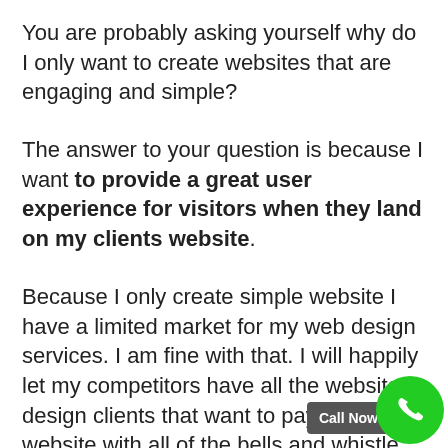You are probably asking yourself why do I only want to create websites that are engaging and simple?
The answer to your question is because I want to provide a great user experience for visitors when they land on my clients website.
Because I only create simple website I have a limited market for my web design services. I am fine with that. I will happily let my competitors have all the website design clients that want to pay more for website with all of the bells and whistles